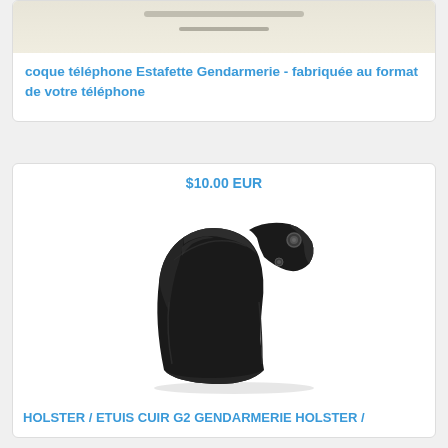[Figure (photo): Partial top image of a product – appears to be a phone case with Estafette Gendarmerie design, cropped at top]
coque téléphone Estafette Gendarmerie - fabriquée au format de votre téléphone
$10.00 EUR
[Figure (photo): Black leather gun holster (G2 Gendarmerie holster) photographed on white background]
HOLSTER / ETUIS CUIR G2 GENDARMERIE HOLSTER /